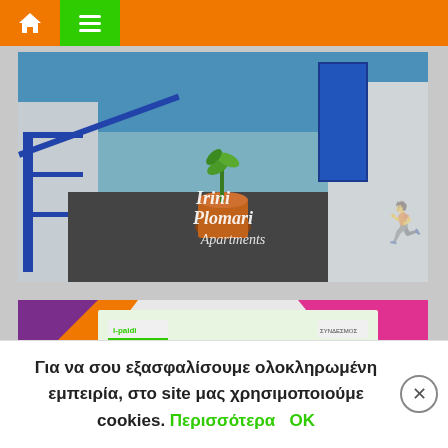Navigation bar with home and menu icons
[Figure (photo): Exterior view of Irini Plomari Apartments showing courtyard with potted plant, blue door, and sea visible in background. White text overlay reads 'Irini Plomari Apartments']
[Figure (screenshot): Screenshot of an event invitation/certificate with colorful geometric background (orange, purple, pink, green). Shows i-paidi logo and Greek text about a school event titled 'Μαθησιακές δυσκολίες και σύγχρονο σχολείο' on Monday 26 February at 19:00.]
Για να σου εξασφαλίσουμε ολοκληρωμένη εμπειρία, στο site μας χρησιμοποιούμε cookies. Περισσότερα OK